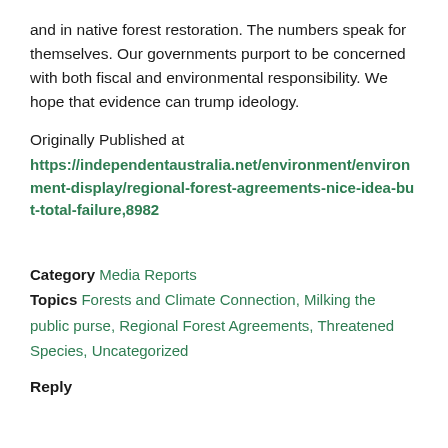and in native forest restoration. The numbers speak for themselves. Our governments purport to be concerned with both fiscal and environmental responsibility. We hope that evidence can trump ideology.
Originally Published at
https://independentaustralia.net/environment/environment-display/regional-forest-agreements-nice-idea-but-total-failure,8982
Category Media Reports
Topics Forests and Climate Connection, Milking the public purse, Regional Forest Agreements, Threatened Species, Uncategorized
Reply